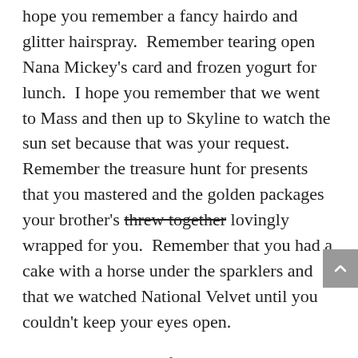hope you remember a fancy hairdo and glitter hairspray.  Remember tearing open Nana Mickey's card and frozen yogurt for lunch.  I hope you remember that we went to Mass and then up to Skyline to watch the sun set because that was your request. Remember the treasure hunt for presents that you mastered and the golden packages your brother's threw together lovingly wrapped for you.  Remember that you had a cake with a horse under the sparklers and that we watched National Velvet until you couldn't keep your eyes open.
I also hope you will forget we were supposed to be in California on your birthday.  That you won't remember the packing and last minute,